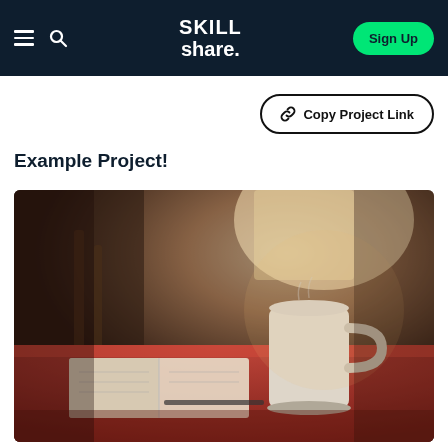Skillshare — Sign Up
Copy Project Link
Example Project!
[Figure (photo): Coffee mug on a red-tablecloth table with an open notebook, warm sunlight from a window in the background]